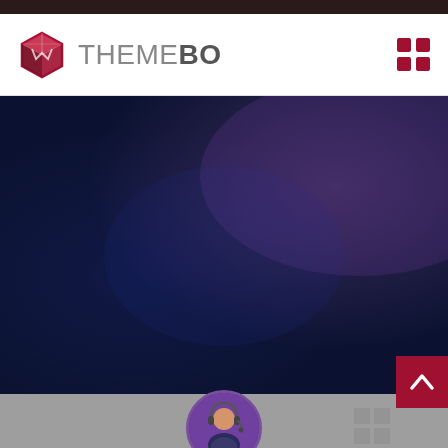[Figure (logo): ThemeBo logo with a red hexagonal box icon and the text THEME in gray and BO in dark bold]
[Figure (photo): Dark blue and purple gradient hero background image]
[Figure (photo): Customer support agent avatar in circular purple-bordered frame at bottom center]